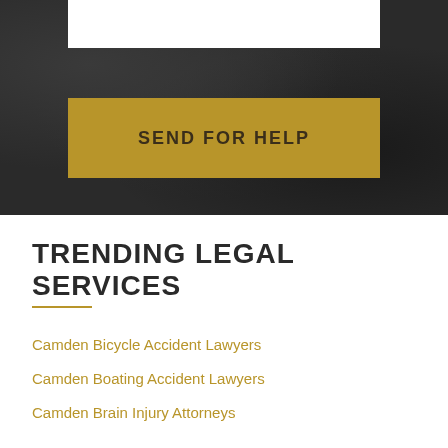[Figure (other): Dark textured background with a white box at top and gold/tan button labeled SEND FOR HELP]
SEND FOR HELP
TRENDING LEGAL SERVICES
Camden Bicycle Accident Lawyers
Camden Boating Accident Lawyers
Camden Brain Injury Attorneys